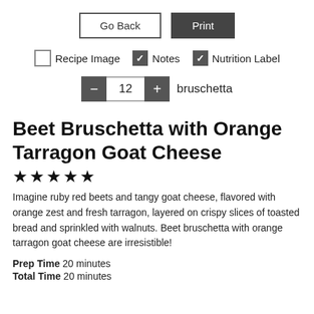[Figure (screenshot): Two UI buttons: 'Go Back' (outlined) and 'Print' (dark filled)]
[Figure (screenshot): Three checkbox options: 'Recipe Image' (unchecked), 'Notes' (checked), 'Nutrition Label' (checked)]
[Figure (screenshot): Quantity stepper showing minus button, '12', plus button, followed by 'bruschetta']
Beet Bruschetta with Orange Tarragon Goat Cheese
[Figure (other): Five filled star rating icons]
Imagine ruby red beets and tangy goat cheese, flavored with orange zest and fresh tarragon, layered on crispy slices of toasted bread and sprinkled with walnuts. Beet bruschetta with orange tarragon goat cheese are irresistible!
Prep Time  20 minutes
Total Time  20 minutes